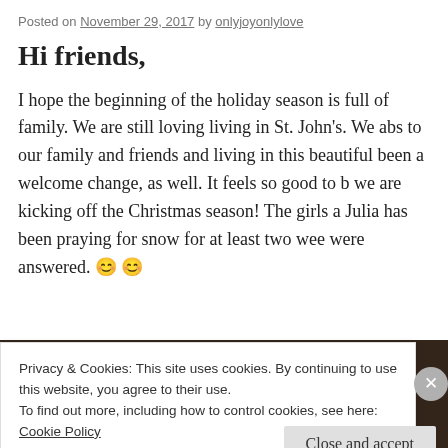Posted on November 29, 2017 by onlyjoyonlylove
Hi friends,
I hope the beginning of the holiday season is full of family. We are still loving living in St. John's. We abs to our family and friends and living in this beautiful been a welcome change, as well. It feels so good to b we are kicking off the Christmas season! The girls a Julia has been praying for snow for at least two wee were answered. 😊😊
[Figure (photo): Dark photo of outdoor winter scene]
Privacy & Cookies: This site uses cookies. By continuing to use this website, you agree to their use.
To find out more, including how to control cookies, see here:
Cookie Policy
Close and accept